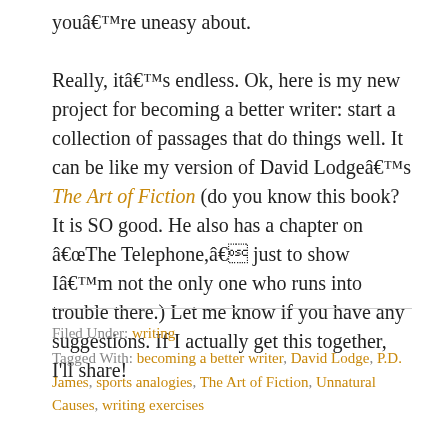youâ€™re uneasy about.

Really, itâ€™s endless. Ok, here is my new project for becoming a better writer: start a collection of passages that do things well. It can be like my version of David Lodgeâ€™s The Art of Fiction (do you know this book? It is SO good. He also has a chapter on â€œThe Telephone,â€ just to show Iâ€™m not the only one who runs into trouble there.) Let me know if you have any suggestions. If I actually get this together, I’ll share!
Filed Under: writing
Tagged With: becoming a better writer, David Lodge, P.D. James, sports analogies, The Art of Fiction, Unnatural Causes, writing exercises